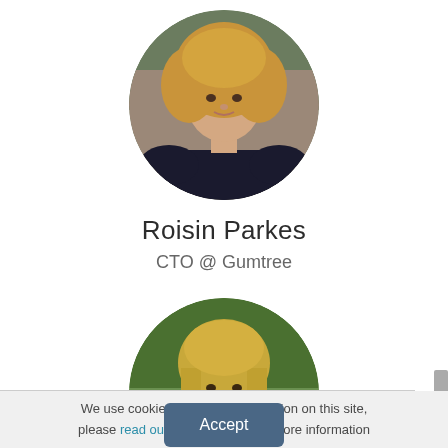[Figure (photo): Circular profile photo of Roisin Parkes, a woman with curly blonde hair wearing a dark lace top, photographed outdoors]
Roisin Parkes
CTO @ Gumtree
[Figure (photo): Circular profile photo of a woman with long blonde hair wearing a white top, smiling, photographed outdoors with green foliage background]
We use cookies and store information on this site, please read our privacy policy for more information
Accept